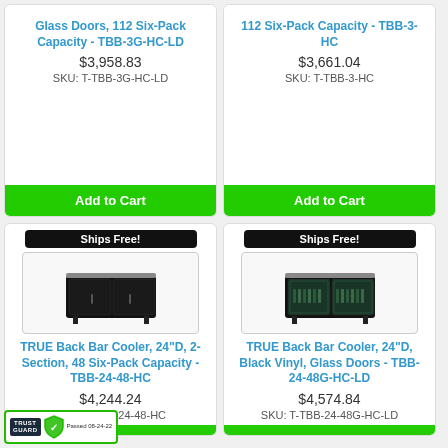Glass Doors, 112 Six-Pack Capacity - TBB-3G-HC-LD
$3,958.83
SKU: T-TBB-3G-HC-LD
Add to Cart
112 Six-Pack Capacity - TBB-3-HC
$3,661.04
SKU: T-TBB-3-HC
Add to Cart
[Figure (photo): TRUE Back Bar Cooler 2-section solid doors black with Ships Free badge]
TRUE Back Bar Cooler, 24"D, 2-Section, 48 Six-Pack Capacity - TBB-24-48-HC
$4,244.24
SKU: T-TBB-24-48-HC
Add to Cart
[Figure (photo): TRUE Back Bar Cooler 2-section glass doors black vinyl with Ships Free badge]
TRUE Back Bar Cooler, 24"D, Black Vinyl, Glass Doors - TBB-24-48G-HC-LD
$4,574.84
SKU: T-TBB-24-48G-HC-LD
Add to Cart